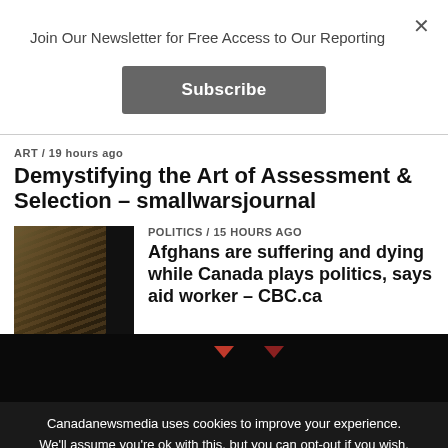×
Join Our Newsletter for Free Access to Our Reporting
Subscribe
ART / 19 hours ago
Demystifying the Art of Assessment & Selection – smallwarsjournal
[Figure (photo): Crowd of armed fighters, dark toned image]
POLITICS / 15 hours ago
Afghans are suffering and dying while Canada plays politics, says aid worker – CBC.ca
Canadanewsmedia uses cookies to improve your experience. We'll assume you're ok with this, but you can opt-out if you wish.
Cookie settings
ACCEPT